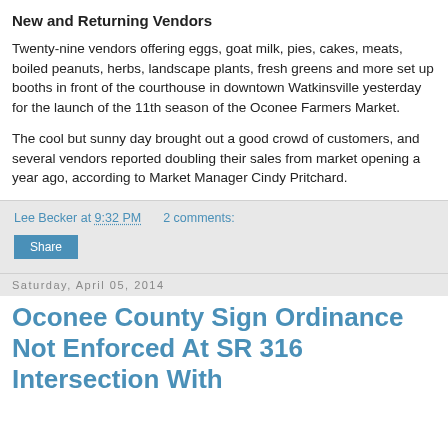New and Returning Vendors
Twenty-nine vendors offering eggs, goat milk, pies, cakes, meats, boiled peanuts, herbs, landscape plants, fresh greens and more set up booths in front of the courthouse in downtown Watkinsville yesterday for the launch of the 11th season of the Oconee Farmers Market.
The cool but sunny day brought out a good crowd of customers, and several vendors reported doubling their sales from market opening a year ago, according to Market Manager Cindy Pritchard.
Lee Becker at 9:32 PM   2 comments:
Saturday, April 05, 2014
Oconee County Sign Ordinance Not Enforced At SR 316 Intersection With